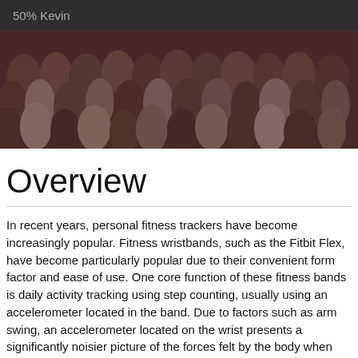50% Kevin
[Figure (photo): A large crowd of people gathered together, likely at a running or sporting event. The image has a dark brownish-red tint overlay.]
Overview
In recent years, personal fitness trackers have become increasingly popular. Fitness wristbands, such as the Fitbit Flex, have become particularly popular due to their convenient form factor and ease of use. One core function of these fitness bands is daily activity tracking using step counting, usually using an accelerometer located in the band. Due to factors such as arm swing, an accelerometer located on the wrist presents a significantly noisier picture of the forces felt by the body when walking when compared to a more traditional location for a pedometer. Because of this, step counting using an accelerometer